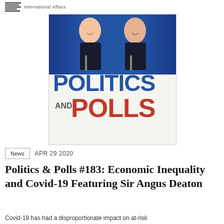International Affairs
[Figure (illustration): Politics and Polls podcast cover image showing two smiling men in suits at a press conference podium with microphones against a blue curtain background, with large text 'POLITICS AND POLLS' in blue and red.]
News  APR 29 2020
Politics & Polls #183: Economic Inequality and Covid-19 Featuring Sir Angus Deaton
Covid-19 has had a disproportionate impact on at-risk